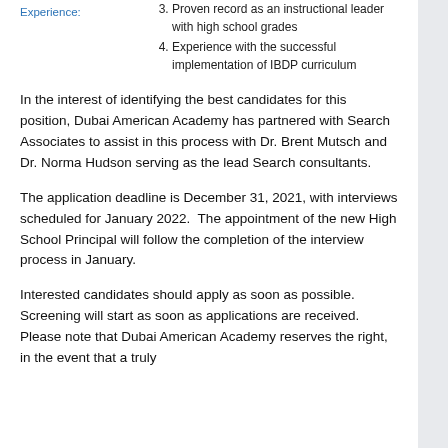Experience:
3. Proven record as an instructional leader with high school grades
4. Experience with the successful implementation of IBDP curriculum
In the interest of identifying the best candidates for this position, Dubai American Academy has partnered with Search Associates to assist in this process with Dr. Brent Mutsch and Dr. Norma Hudson serving as the lead Search consultants.
The application deadline is December 31, 2021, with interviews scheduled for January 2022.  The appointment of the new High School Principal will follow the completion of the interview process in January.
Interested candidates should apply as soon as possible. Screening will start as soon as applications are received. Please note that Dubai American Academy reserves the right, in the event that a truly